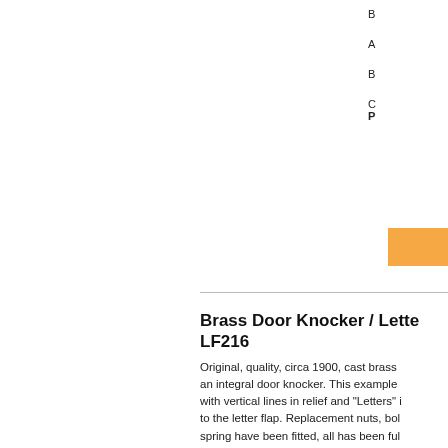B
A
B
C
P
Brass Door Knocker / Letter LF216
Original, quality, circa 1900, cast brass with an integral door knocker. This example with vertical lines in relief and "Letters" in to the letter flap. Replacement nuts, bolts spring have been fitted, all has been fully and is complete and in good and working
Aperture 4.5" x 1.5".
Whole 8" x 4".
1.5" front to back.